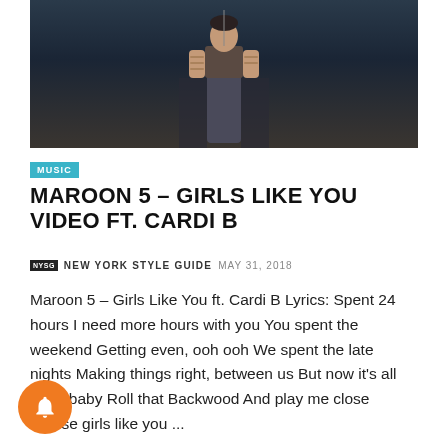[Figure (photo): A man with tattoos wearing a dark t-shirt and jeans standing in a dark studio environment]
MUSIC
MAROON 5 – GIRLS LIKE YOU VIDEO FT. CARDI B
NYSG  NEW YORK STYLE GUIDE  MAY 31, 2018
Maroon 5 – Girls Like You ft. Cardi B Lyrics: Spent 24 hours I need more hours with you You spent the weekend Getting even, ooh ooh We spent the late nights Making things right, between us But now it's all good baby Roll that Backwood And play me close 'Cause girls like you ...